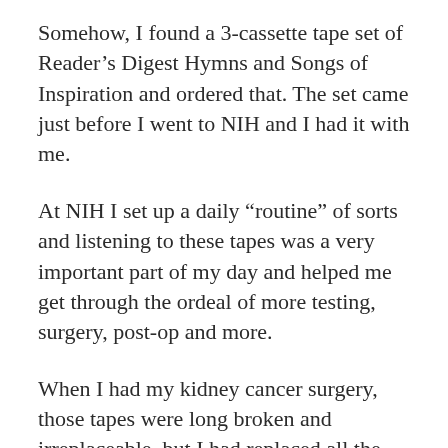Somehow, I found a 3-cassette tape set of Reader's Digest Hymns and Songs of Inspiration and ordered that. The set came just before I went to NIH and I had it with me.
At NIH I set up a daily “routine” of sorts and listening to these tapes was a very important part of my day and helped me get through the ordeal of more testing, surgery, post-op and more.
When I had my kidney cancer surgery, those tapes were long broken and irreplaceable, but I had replaced all the